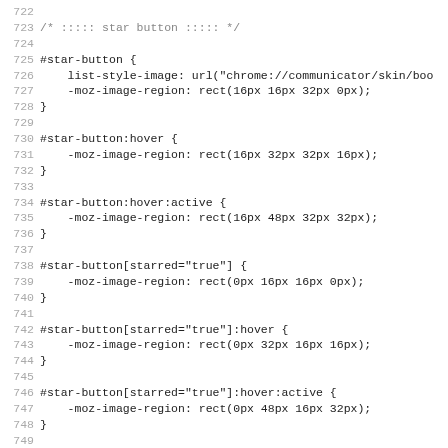Code listing lines 722-754: CSS rules for #star-button and #editBookmarkPanelStarIcon
722
723 /* ::::: star button ::::: */
724
725 #star-button {
726     list-style-image: url("chrome://communicator/skin/boo
727     -moz-image-region: rect(16px 16px 32px 0px);
728 }
729
730 #star-button:hover {
731     -moz-image-region: rect(16px 32px 32px 16px);
732 }
733
734 #star-button:hover:active {
735     -moz-image-region: rect(16px 48px 32px 32px);
736 }
737
738 #star-button[starred="true"] {
739     -moz-image-region: rect(0px 16px 16px 0px);
740 }
741
742 #star-button[starred="true"]:hover {
743     -moz-image-region: rect(0px 32px 16px 16px);
744 }
745
746 #star-button[starred="true"]:hover:active {
747     -moz-image-region: rect(0px 48px 16px 32px);
748 }
749
750 #editBookmarkPanelStarIcon {
751     list-style-image: url("chrome://communicator/skin/boo
752     -moz-image-region: rect(0px 16px 16px 0px);
753 }
754